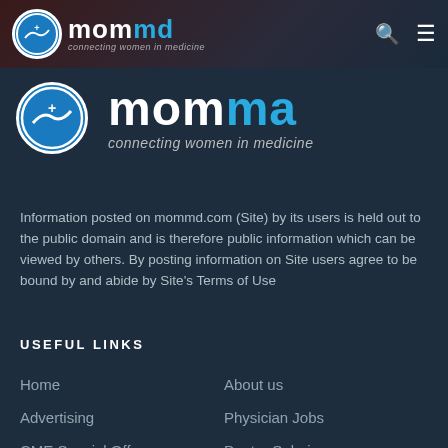[Figure (logo): MomMD logo in navigation bar - circle icon with mom in white and md in blue text, tagline connecting women in medicine]
[Figure (logo): Large MomMa logo - circle icon with mom in white and ma in blue text, tagline connecting women in medicine]
Information posted on mommd.com (Site) by its users is held out to the public domain and is therefore public information which can be viewed by others. By posting information on Site users agree to be bound by and abide by Site's Terms of Use
USEFUL LINKS
Home
About us
Advertising
Physician Jobs
CME Special Offers
Doctor Salaries